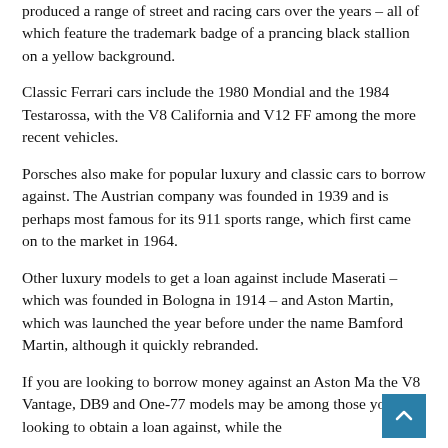produced a range of street and racing cars over the years – all of which feature the trademark badge of a prancing black stallion on a yellow background.
Classic Ferrari cars include the 1980 Mondial and the 1984 Testarossa, with the V8 California and V12 FF among the more recent vehicles.
Porsches also make for popular luxury and classic cars to borrow against. The Austrian company was founded in 1939 and is perhaps most famous for its 911 sports range, which first came on to the market in 1964.
Other luxury models to get a loan against include Maserati – which was founded in Bologna in 1914 – and Aston Martin, which was launched the year before under the name Bamford Martin, although it quickly rebranded.
If you are looking to borrow money against an Aston Ma the V8 Vantage, DB9 and One-77 models may be among those you are looking to obtain a loan against, while the